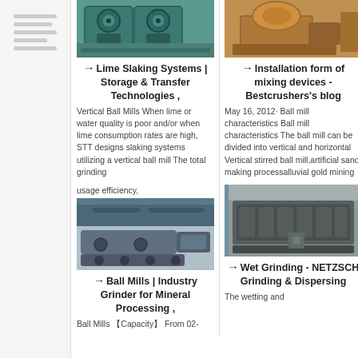[Figure (photo): Industrial ball mill machine, green/teal colored, front view in warehouse]
[Figure (photo): Industrial mixing device, orange/yellow colored machine outdoors]
Lime Slaking Systems | Storage & Transfer Technologies ,
Installation form of mixing devices - Bestcrushers's blog
Vertical Ball Mills When lime or water quality is poor and/or when lime consumption rates are high, STT designs slaking systems utilizing a vertical ball mill The total grinding
May 16, 2012· Ball mill characteristics Ball mill characteristics The ball mill can be divided into vertical and horizontal Vertical stirred ball mill,artificial sand making processalluvial gold mining
[Figure (photo): Mobile crushing/grinding plant on tracks, grey industrial machine outdoors]
[Figure (photo): Wet grinding screening machine, dark grey, inside industrial building]
usage efficiency,
Ball Mills | Industry Grinder for Mineral Processing ,
Wet Grinding - NETZSCH Grinding & Dispersing
Ball Mills 【Capacity】 From 02-
The wetting and